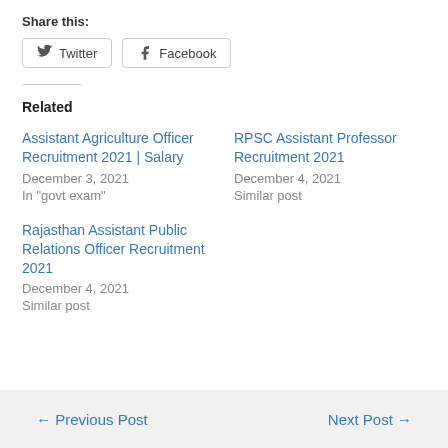Share this:
Twitter  Facebook
Related
Assistant Agriculture Officer Recruitment 2021 | Salary
December 3, 2021
In "govt exam"
RPSC Assistant Professor Recruitment 2021
December 4, 2021
Similar post
Rajasthan Assistant Public Relations Officer Recruitment 2021
December 4, 2021
Similar post
← Previous Post    Next Post →